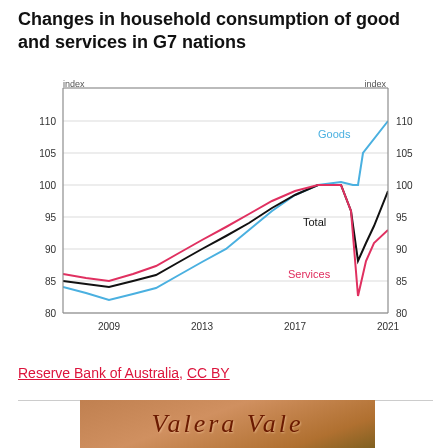Changes in household consumption of good and services in G7 nations
[Figure (line-chart): Changes in household consumption of good and services in G7 nations]
Reserve Bank of Australia, CC BY
[Figure (photo): Valera Vale decorative script logo over a landscape/outdoor background]